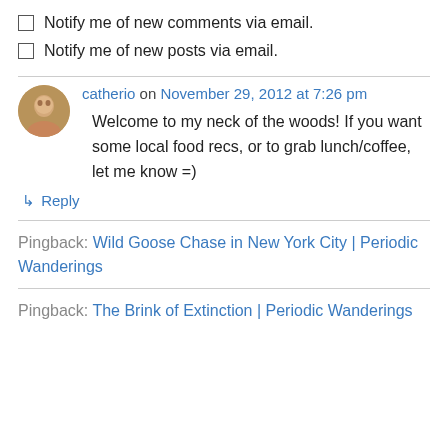Notify me of new comments via email.
Notify me of new posts via email.
catherio on November 29, 2012 at 7:26 pm
Welcome to my neck of the woods! If you want some local food recs, or to grab lunch/coffee, let me know =)
↳ Reply
Pingback: Wild Goose Chase in New York City | Periodic Wanderings
Pingback: The Brink of Extinction | Periodic Wanderings